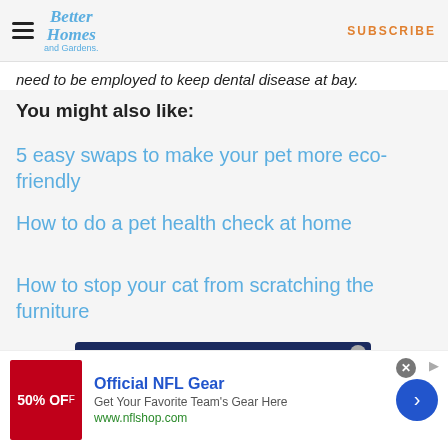Better Homes and Gardens — SUBSCRIBE
need to be employed to keep dental disease at bay.
You might also like:
5 easy swaps to make your pet more eco-friendly
How to do a pet health check at home
How to stop your cat from scratching the furniture
[Figure (screenshot): Magshop advertisement: SAVE ON Australia's BEST MAGAZINE BRANDS on a dark blue background]
[Figure (screenshot): Bottom ad banner: Official NFL Gear — 60% OFF, Get Your Favorite Team's Gear Here, www.nflshop.com]